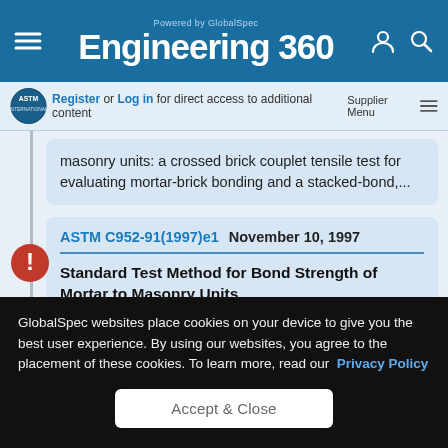Engineering 360 — Powered by GlobalSpec
Register or Log in for direct access to additional content | Supplier Menu
masonry units: a crossed brick couplet tensile test for evaluating mortar-brick bonding and a stacked-bond,...
ASTM C952-91(1997)e1   November 10, 1997
Standard Test Method for Bond Strength of Mortar to Masonry Units
GlobalSpec websites place cookies on your device to give you the best user experience. By using our websites, you agree to the placement of these cookies. To learn more, read our Privacy Policy
Accept & Close